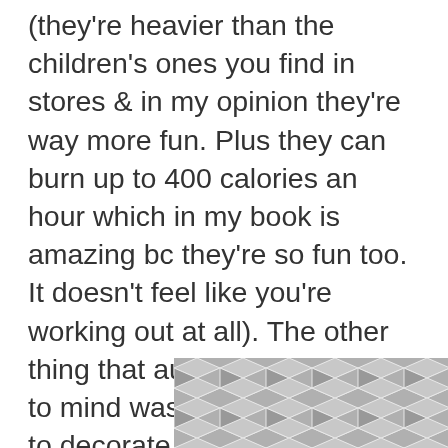(they're heavier than the children's ones you find in stores & in my opinion they're way more fun. Plus they can burn up to 400 calories an hour which in my book is amazing bc they're so fun too. It doesn't feel like you're working out at all). The other thing that automatically came to mind was to use the tapes to decorate a homemade journal or a DIY eyeshadow holder made out of an old book. With the tape you could really add your own personality to either project. This defin... en
[Figure (illustration): A geometric hexagon/cube pattern tile image overlapping the bottom text]